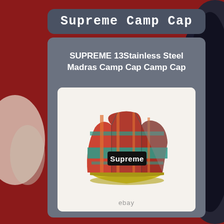Supreme Camp Cap
SUPREME 13Stainless Steel Madras Camp Cap Camp Cap
[Figure (photo): A Supreme camp cap with multicolor madras plaid pattern in red, teal, orange, and grey, featuring a black Supreme logo patch on the front and a yellow brim, displayed on a white background with 'ebay' watermark.]